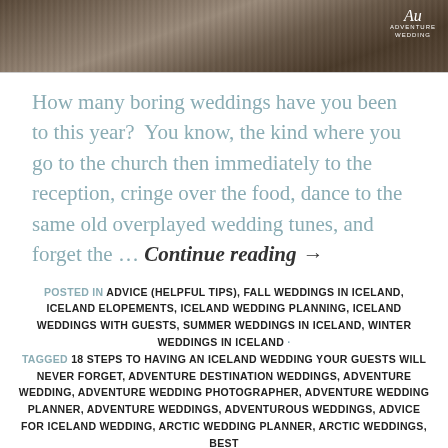[Figure (photo): Aerial or landscape panoramic photograph in sepia/black and white tones showing terrain with an Adventure Wedding logo in the top right corner]
How many boring weddings have you been to this year?  You know, the kind where you go to the church then immediately to the reception, cringe over the food, dance to the same old overplayed wedding tunes, and forget the … Continue reading →
POSTED IN ADVICE (HELPFUL TIPS), FALL WEDDINGS IN ICELAND, ICELAND ELOPEMENTS, ICELAND WEDDING PLANNING, ICELAND WEDDINGS WITH GUESTS, SUMMER WEDDINGS IN ICELAND, WINTER WEDDINGS IN ICELAND · TAGGED 18 STEPS TO HAVING AN ICELAND WEDDING YOUR GUESTS WILL NEVER FORGET, ADVENTURE DESTINATION WEDDINGS, ADVENTURE WEDDING, ADVENTURE WEDDING PHOTOGRAPHER, ADVENTURE WEDDING PLANNER, ADVENTURE WEDDINGS, ADVENTUROUS WEDDINGS, ADVICE FOR ICELAND WEDDING, ARCTIC WEDDING PLANNER, ARCTIC WEDDINGS, BEST